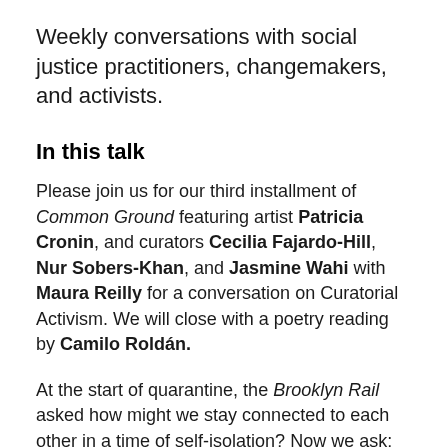Weekly conversations with social justice practitioners, changemakers, and activists.
In this talk
Please join us for our third installment of Common Ground featuring artist Patricia Cronin, and curators Cecilia Fajardo-Hill, Nur Sobers-Khan, and Jasmine Wahi with Maura Reilly for a conversation on Curatorial Activism. We will close with a poetry reading by Camilo Roldán.
At the start of quarantine, the Brooklyn Rail asked how might we stay connected to each other in a time of self-isolation? Now we ask: How